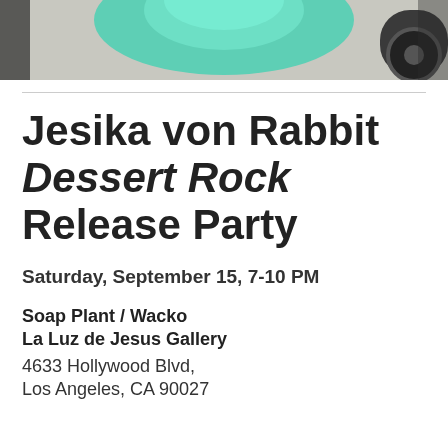[Figure (photo): Photo strip at top showing a person in a teal/mint green dress or outfit with a vehicle tire visible on the right side, against a light gravel/asphalt background.]
Jesika von Rabbit Dessert Rock Release Party
Saturday, September 15, 7-10 PM
Soap Plant / Wacko
La Luz de Jesus Gallery
4633 Hollywood Blvd,
Los Angeles, CA 90027